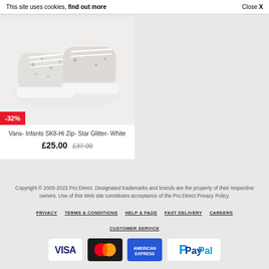This site uses cookies, find out more   Close X
[Figure (photo): White high-top sneakers (Vans SK8-Hi Zip Star Glitter White) with star pattern on white background, with -32% red discount badge]
Vans- Infants SK8-Hi Zip- Star Glitter- White
£25.00   £37.00
Copyright © 2005-2022 Pro:Direct. Designated trademarks and brands are the property of their respective owners. Use of this Web site constitutes acceptance of the Pro:Direct Privacy Policy.
PRIVACY   TERMS & CONDITIONS   HELP & FAQS   FAST DELIVERY   CAREERS   CUSTOMER SERVICE
[Figure (logo): Payment method logos: VISA, Mastercard, American Express, PayPal]